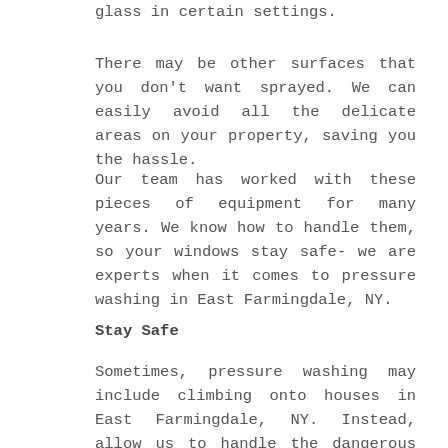glass in certain settings.
There may be other surfaces that you don't want sprayed. We can easily avoid all the delicate areas on your property, saving you the hassle.
Our team has worked with these pieces of equipment for many years. We know how to handle them, so your windows stay safe- we are experts when it comes to pressure washing in East Farmingdale, NY.
Stay Safe
Sometimes, pressure washing may include climbing onto houses in East Farmingdale, NY. Instead, allow us to handle the dangerous and hard-to-reach places. We have the needed equipment and skill required to stay safe while high off of the ground